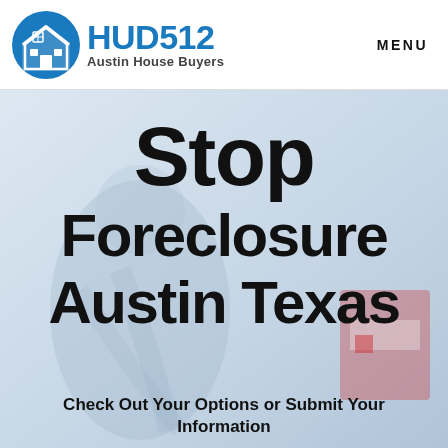[Figure (logo): HUD512 Austin House Buyers logo: blue circle with house icon, company name in blue bold text, tagline in grey]
MENU
Stop Foreclosure Austin Texas
Check Out Your Options or Submit Your Information